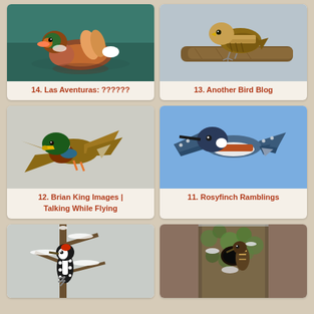[Figure (photo): Mandarin duck swimming on water, colorful plumage]
14. Las Aventuras: ??????
[Figure (photo): Small songbird perched on a branch]
13. Another Bird Blog
[Figure (photo): Mallard duck in flight, wings spread]
12. Brian King Images | Talking While Flying
[Figure (photo): Belted kingfisher in flight against blue sky]
11. Rosyfinch Ramblings
[Figure (photo): Downy woodpecker clinging to snowy branch]
[Figure (photo): Woodpecker at mossy tree cavity in snow]